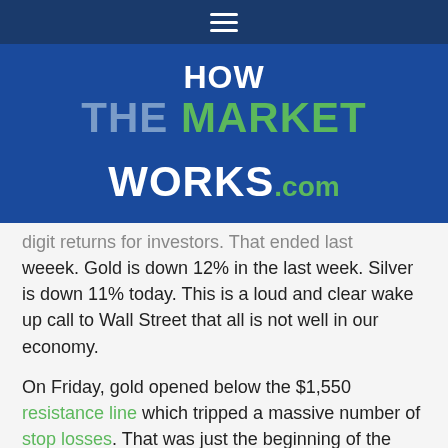HowTheMarketWorks.com navigation bar
[Figure (logo): HOW THE MARKET WORKS .com logo on dark blue background]
digit returns for investors. That ended last weeek. Gold is down 12% in the last week. Silver is down 11% today. This is a loud and clear wake up call to Wall Street that all is not well in our economy.
On Friday, gold opened below the $1,550 resistance line which tripped a massive number of stop losses. That was just the beginning of the carnage. For the rest of the day the bulls and bears fought. The bulls twice put the bears on hold but Gold continued to trip other critical resistance lines including the ever-important